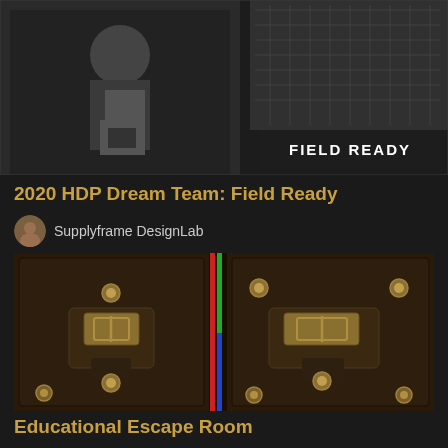[Figure (photo): Top portion of a card showing two black-and-white photos: left shows a person holding a box, right shows an outdoor scene. A dark overlay banner reads 'FIELD READY' in bold white capital letters.]
2020 HDP Dream Team: Field Ready
Supplyframe DesignLab
[Figure (photo): Close-up photograph of two dark brown leather pouches/bags side by side, each with a brass buckle and brass rivets. Between them are colorful cables (red, green, blue).]
Educational Escape Room